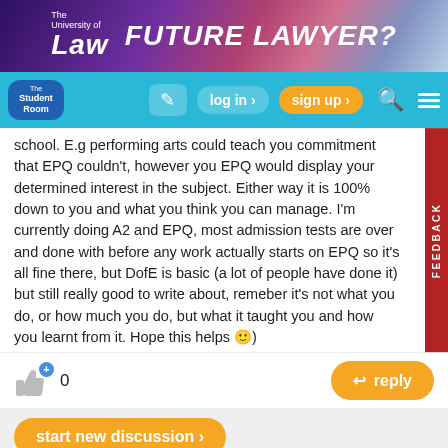[Figure (other): The University of Law advertisement banner with text 'FUTURE LAWYER?']
[Figure (other): The Student Room navigation bar with log in, sign up, search, and menu buttons]
school. E.g performing arts could teach you commitment that EPQ couldn't, however you EPQ would display your determined interest in the subject. Either way it is 100% down to you and what you think you can manage. I'm currently doing A2 and EPQ, most admission tests are over and done with before any work actually starts on EPQ so it's all fine there, but DofE is basic (a lot of people have done it) but still really good to write about, remeber it's not what you do, or how much you do, but what it taught you and how you learnt from it. Hope this helps 🙂)
[Figure (other): Like button with count 0 and Reply button]
start new discussion ›
Quick Reply
Reply to this thread here...